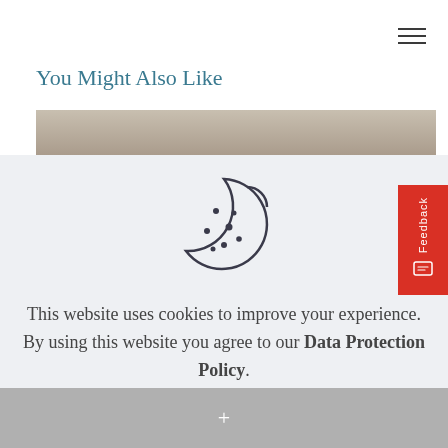You Might Also Like
[Figure (photo): Sepia/grayscale photo strip partially visible behind cookie consent overlay]
[Figure (illustration): Cookie icon — outline drawing of a cookie with a bite taken out and chocolate chip dots]
This website uses cookies to improve your experience. By using this website you agree to our Data Protection Policy.
Read more
Accept all
+